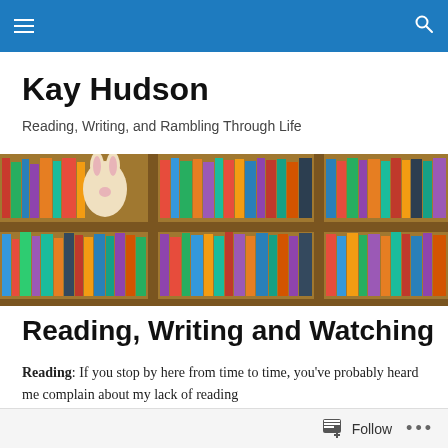Kay Hudson — navigation bar with hamburger menu and search icon
Kay Hudson
Reading, Writing, and Rambling Through Life
[Figure (photo): A wide bookshelf photograph showing three sections filled with colorful books, with a stuffed animal visible on the left shelf.]
Reading, Writing and Watching
Reading:  If you stop by here from time to time, you've probably heard me complain about my lack of reading
Follow ...